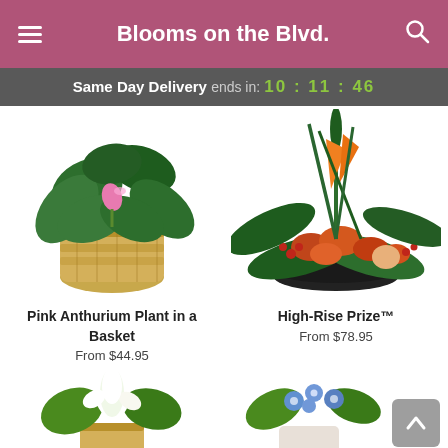Blooms on the Blvd.
Same Day Delivery ends in: 10 : 11 : 46
[Figure (photo): Pink Anthurium Plant in a woven basket with green heart-shaped leaves]
Pink Anthurium Plant in a Basket
From $44.95
[Figure (photo): High-Rise Prize tropical floral arrangement with bird of paradise and orange lilies in a black dish]
High-Rise Prize™
From $78.95
[Figure (photo): Partial view of white lily arrangement in basket at bottom left]
[Figure (photo): Partial view of blue and white floral arrangement at bottom right]